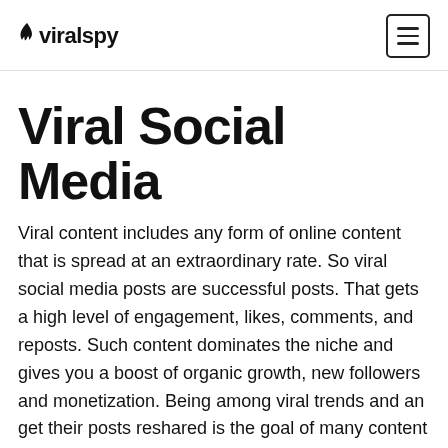viralspy
Viral Social Media
Viral content includes any form of online content that is spread at an extraordinary rate. So viral social media posts are successful posts. That gets a high level of engagement, likes, comments, and reposts. Such content dominates the niche and gives you a boost of organic growth, new followers and monetization. Being among viral trends and an get their posts reshared is the goal of many content creators, influencers and marketers. And one way of reaching it is to